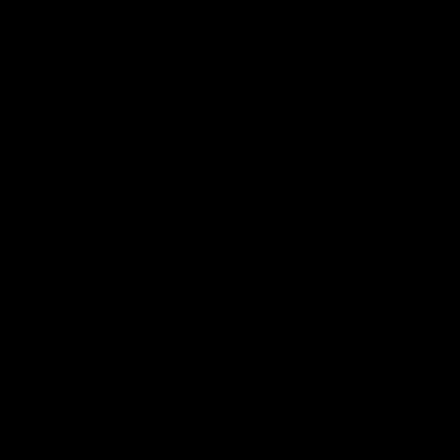am
rea
wo
wh
the
pro
cou
be.
I
sta
loo
thr
the
spe
aga
but
the
is
no
me
of
any
spe